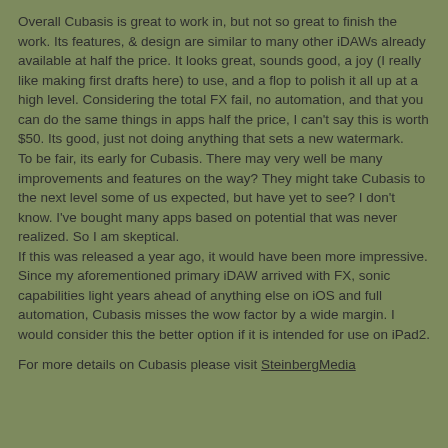Overall Cubasis is great to work in, but not so great to finish the work. Its features, & design are similar to many other iDAWs already available at half the price. It looks great, sounds good, a joy (I really like making first drafts here) to use, and a flop to polish it all up at a high level. Considering the total FX fail, no automation, and that you can do the same things in apps half the price, I can't say this is worth $50. Its good, just not doing anything that sets a new watermark.
To be fair, its early for Cubasis. There may very well be many improvements and features on the way? They might take Cubasis to the next level some of us expected, but have yet to see? I don't know. I've bought many apps based on potential that was never realized. So I am skeptical.
If this was released a year ago, it would have been more impressive. Since my aforementioned primary iDAW arrived with FX, sonic capabilities light years ahead of anything else on iOS and full automation, Cubasis misses the wow factor by a wide margin. I would consider this the better option if it is intended for use on iPad2.
For more details on Cubasis please visit SteinbergMedia